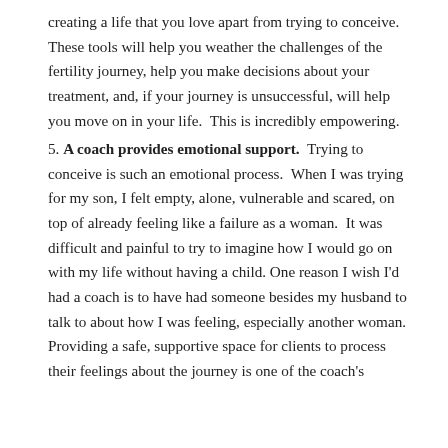creating a life that you love apart from trying to conceive.  These tools will help you weather the challenges of the fertility journey, help you make decisions about your treatment, and, if your journey is unsuccessful, will help you move on in your life.  This is incredibly empowering.
5. A coach provides emotional support.  Trying to conceive is such an emotional process.  When I was trying for my son, I felt empty, alone, vulnerable and scared, on top of already feeling like a failure as a woman.  It was difficult and painful to try to imagine how I would go on with my life without having a child.  One reason I wish I'd had a coach is to have had someone besides my husband to talk to about how I was feeling, especially another woman. Providing a safe, supportive space for clients to process their feelings about the journey is one of the coach's